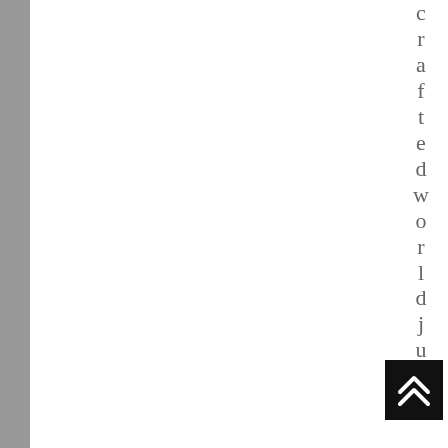[Figure (other): White blank page area with decorative background on sides]
crafted world just
[Figure (other): Black scroll-to-top button with double upward chevron arrows]